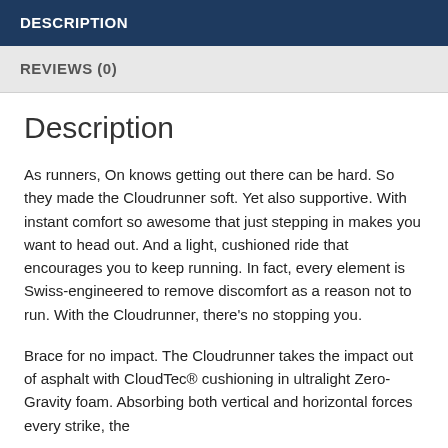DESCRIPTION
REVIEWS (0)
Description
As runners, On knows getting out there can be hard. So they made the Cloudrunner soft. Yet also supportive. With instant comfort so awesome that just stepping in makes you want to head out. And a light, cushioned ride that encourages you to keep running. In fact, every element is Swiss-engineered to remove discomfort as a reason not to run. With the Cloudrunner, there's no stopping you.
Brace for no impact. The Cloudrunner takes the impact out of asphalt with CloudTec® cushioning in ultralight Zero-Gravity foam. Absorbing both vertical and horizontal forces every strike, the